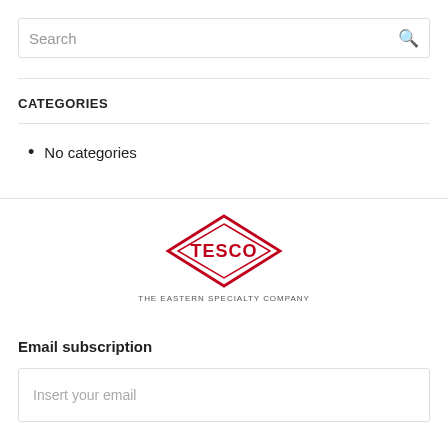[Figure (other): Search input box with placeholder text 'Search' and a magnifying glass icon on the right]
CATEGORIES
No categories
[Figure (logo): TESCO logo — diamond shape outline in red with 'TESCO' text inside, tagline 'THE EASTERN SPECIALTY COMPANY' below]
Email subscription
[Figure (other): Email input box with placeholder text 'Insert your email']